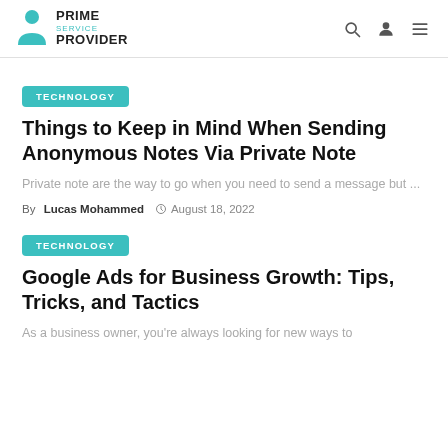PRIME SERVICE PROVIDER
TECHNOLOGY
Things to Keep in Mind When Sending Anonymous Notes Via Private Note
Private note are the way to go when you need to send a message but ...
By Lucas Mohammed  August 18, 2022
TECHNOLOGY
Google Ads for Business Growth: Tips, Tricks, and Tactics
As a business owner, you're always looking for new ways to